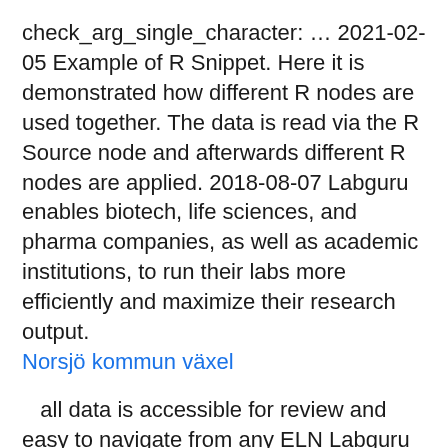check_arg_single_character: … 2021-02-05 Example of R Snippet. Here it is demonstrated how different R nodes are used together. The data is read via the R Source node and afterwards different R nodes are applied. 2018-08-07 Labguru enables biotech, life sciences, and pharma companies, as well as academic institutions, to run their labs more efficiently and maximize their research output. Norsjö kommun växel
all data is accessible for review and easy to navigate from any ELN Labguru Electronic lab notebook . Labguru is a web-based electronic lab notebook for storage and management of all your lab experiments. ELN allows smooth collaboration in and outside the lab, by collecting everything in one place: protocols, material, results and ideas.